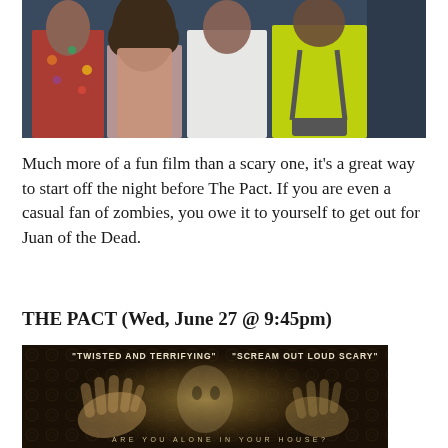[Figure (photo): Four people viewed from behind against a dark background — one in a floral shirt, one with long curly hair, one in a white tank top, one in a yellow shirt with backpack straps]
Much more of a fun film than a scary one, it's a great way to start off the night before The Pact. If you are even a casual fan of zombies, you owe it to yourself to get out for Juan of the Dead.
THE PACT (Wed, June 27 @ 9:45pm)
[Figure (photo): Movie poster for The Pact showing ghostly hands pressed against a patterned wallpaper surface with a face faintly visible. Text reads: "TWISTED AND TERRIFYING" | "SCREAM OUT LOUD SCARY" | ARE YOU ALONE IN YOUR HOUSE?]